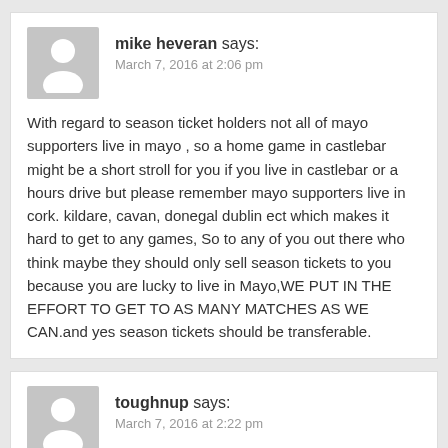mike heveran says:
March 7, 2016 at 2:06 pm
With regard to season ticket holders not all of mayo supporters live in mayo , so a home game in castlebar might be a short stroll for you if you live in castlebar or a hours drive but please remember mayo supporters live in cork. kildare, cavan, donegal dublin ect which makes it hard to get to any games, So to any of you out there who think maybe they should only sell season tickets to you because you are lucky to live in Mayo,WE PUT IN THE EFFORT TO GET TO AS MANY MATCHES AS WE CAN.and yes season tickets should be transferable.
toughnup says:
March 7, 2016 at 2:22 pm